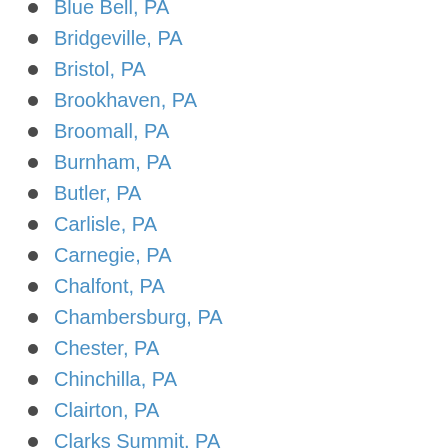Blue Bell, PA
Bridgeville, PA
Bristol, PA
Brookhaven, PA
Broomall, PA
Burnham, PA
Butler, PA
Carlisle, PA
Carnegie, PA
Chalfont, PA
Chambersburg, PA
Chester, PA
Chinchilla, PA
Clairton, PA
Clarks Summit, PA
Clifton Heights, PA
Coatesville, PA
Collingdale, PA